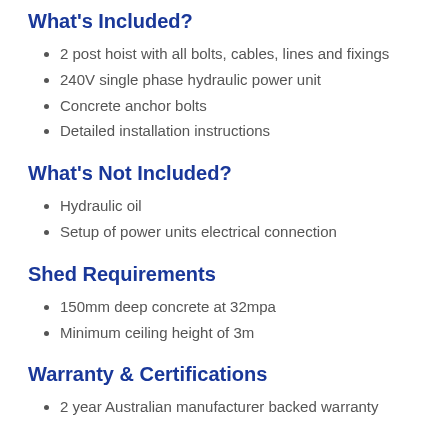What's Included?
2 post hoist with all bolts, cables, lines and fixings
240V single phase hydraulic power unit
Concrete anchor bolts
Detailed installation instructions
What's Not Included?
Hydraulic oil
Setup of power units electrical connection
Shed Requirements
150mm deep concrete at 32mpa
Minimum ceiling height of 3m
Warranty & Certifications
2 year Australian manufacturer backed warranty